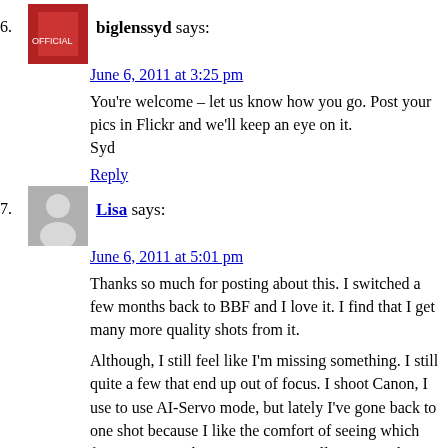6. biglenssyd says: June 6, 2011 at 3:25 pm
You’re welcome – let us know how you go. Post your pics in Flickr and we’ll keep an eye on it.
Syd
Reply
7. Lisa says: June 6, 2011 at 5:01 pm
Thanks so much for posting about this. I switched a few months back to BBF and I love it. I find that I get many more quality shots from it.
Although, I still feel like I’m missing something. I still quite a few that end up out of focus. I shoot Canon, I use to use AI-Servo mode, but lately I’ve gone back to one shot because I like the comfort of seeing which focus point its choosing. Does it really matter what mode I shoot in?